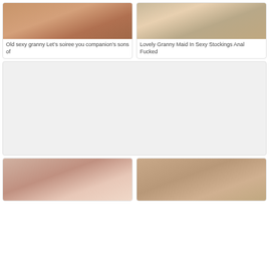[Figure (photo): Adult content thumbnail - top left]
Old sexy granny Let’s soiree you companion's sons of
[Figure (photo): Adult content thumbnail - top right]
Lovely Granny Maid In Sexy Stockings Anal Fucked
[Figure (other): Advertisement placeholder box - gray]
[Figure (photo): Adult content thumbnail - bottom left]
[Figure (photo): Adult content thumbnail - bottom right]